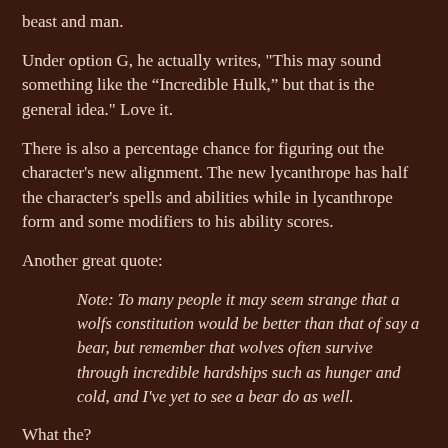beast and man.
Under option G, he actually writes, "This may sound something like the “Incredible Hulk,” but that is the general idea." Love it.
There is also a percentage chance for figuring out the character's new alignment. The new lycanthrope has half the character's spells and abilities while in lycanthrope form and some modifiers to his ability scores.
Another great quote:
Note: To many people it may seem strange that a wolfs constitution would be better than that of say a bear, but remember that wolves often survive through incredible hardships such as hunger and cold, and I've yet to see a bear do as well.
What the?